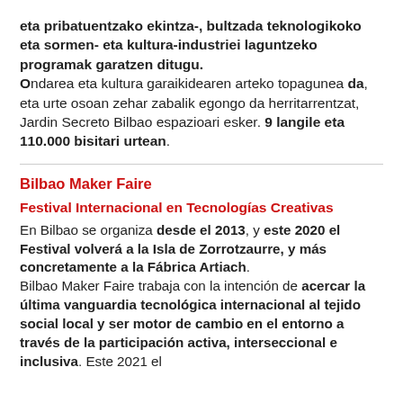eta pribatuentzako ekintza-, bultzada teknologikoko eta sormen- eta kultura-industriei laguntzeko programak garatzen ditugu. Ondarea eta kultura garaikidearen arteko topagunea da, eta urte osoan zehar zabalik egongo da herritarrentzat, Jardin Secreto Bilbao espazioari esker. 9 langile eta 110.000 bisitari urtean.
Bilbao Maker Faire
Festival Internacional en Tecnologías Creativas En Bilbao se organiza desde el 2013, y este 2020 el Festival volverá a la Isla de Zorrotzaurre, y más concretamente a la Fábrica Artiach. Bilbao Maker Faire trabaja con la intención de acercar la última vanguardia tecnológica internacional al tejido social local y ser motor de cambio en el entorno a través de la participación activa, interseccional e inclusiva. Este 2021 el